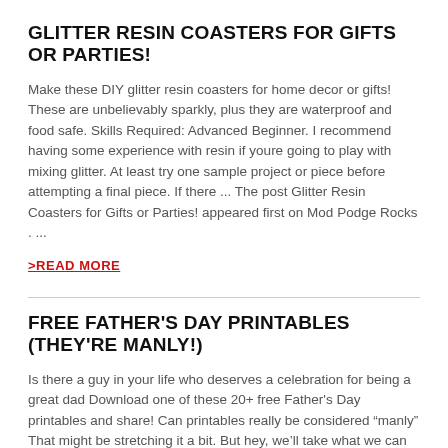GLITTER RESIN COASTERS FOR GIFTS OR PARTIES!
Make these DIY glitter resin coasters for home decor or gifts! These are unbelievably sparkly, plus they are waterproof and food safe. Skills Required: Advanced Beginner. I recommend having some experience with resin if youre going to play with mixing glitter. At least try one sample project or piece before attempting a final piece. If there ... The post Glitter Resin Coasters for Gifts or Parties! appeared first on Mod Podge Rocks . ...
>READ MORE
FREE FATHER'S DAY PRINTABLES (THEY'RE MANLY!)
Is there a guy in your life who deserves a celebration for being a great dad Download one of these 20+ free Father's Day printables and share! Can printables really be considered “manly” That might be stretching it a bit. But hey, we’ll take what we can get for Father’s Day, right.